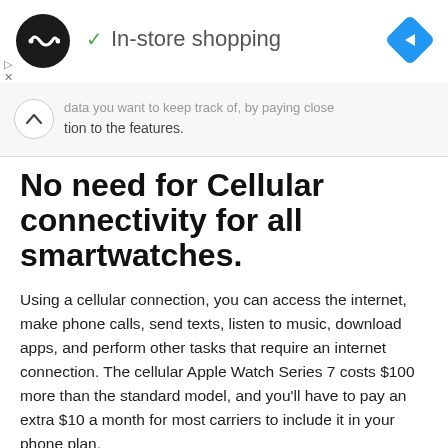In-store shopping
data you want to keep track of, by paying close attention to the features.
No need for Cellular connectivity for all smartwatches.
Using a cellular connection, you can access the internet, make phone calls, send texts, listen to music, download apps, and perform other tasks that require an internet connection. The cellular Apple Watch Series 7 costs $100 more than the standard model, and you'll have to pay an extra $10 a month for most carriers to include it in your phone plan.